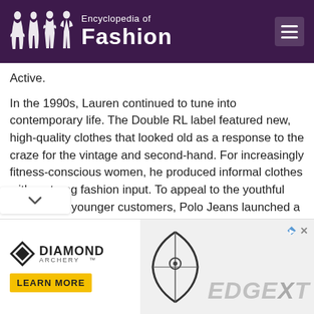Encyclopedia of Fashion
Active.
In the 1990s, Lauren continued to tune into contemporary life. The Double RL label featured new, high-quality clothes that looked old as a response to the craze for the vintage and second-hand. For increasingly fitness-conscious women, he produced informal clothes with a strong fashion input. To appeal to the youthful interests of younger customers, Polo Jeans launched a line of contemporary casualwear in 1996. Two years later, Lauren's trademark aesthetic sensibility and superior craftsmanship was applied to the Polo Sport RLX line of high-performance athletic apparel.
As the new millennium approached, the Ralph Lauren ny began moving from Ivy League to pop culture by
[Figure (screenshot): Diamond Archery advertisement banner with EDGEXT product and LEARN MORE button]